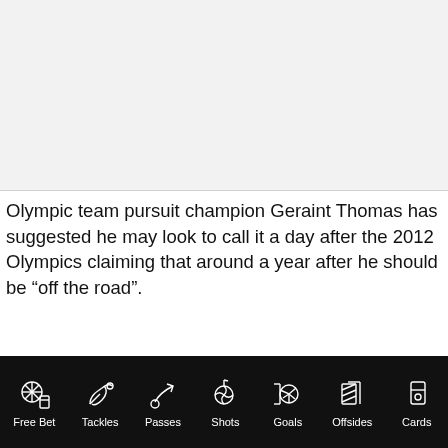[Figure (photo): Light grey rectangular placeholder area representing an image at the top of the page]
Olympic team pursuit champion Geraint Thomas has suggested he may look to call it a day after the 2012 Olympics claiming that around a year after he should be “off the road”.
Free Bet | Tackles | Passes | Shots | Goals | Offsides | Cards